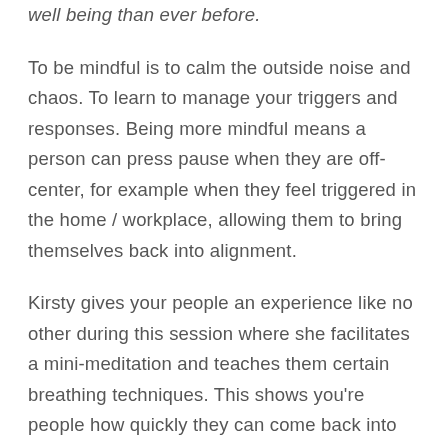well being than ever before.
To be mindful is to calm the outside noise and chaos. To learn to manage your triggers and responses. Being more mindful means a person can press pause when they are off-center, for example when they feel triggered in the home / workplace, allowing them to bring themselves back into alignment.
Kirsty gives your people an experience like no other during this session where she facilitates a mini-meditation and teaches them certain breathing techniques. This shows you're people how quickly they can come back into alignment, rise above their primordial fight or flight system & leaving them FEELING less stressed and more